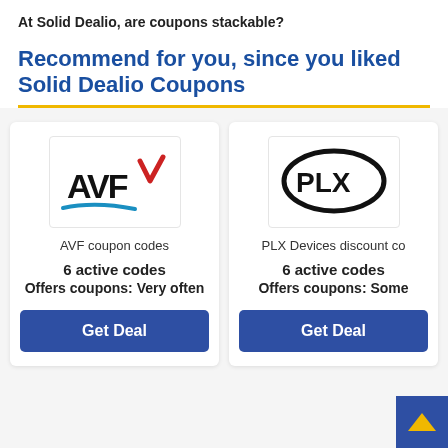At Solid Dealio, are coupons stackable?
Recommend for you, since you liked Solid Dealio Coupons
[Figure (logo): AVF logo with stylized red checkmark and blue swoosh]
AVF coupon codes
6 active codes
Offers coupons: Very often
Get Deal
[Figure (logo): PLX logo with black oval outline and PLX text inside]
PLX Devices discount co
6 active codes
Offers coupons: Some
Get Deal